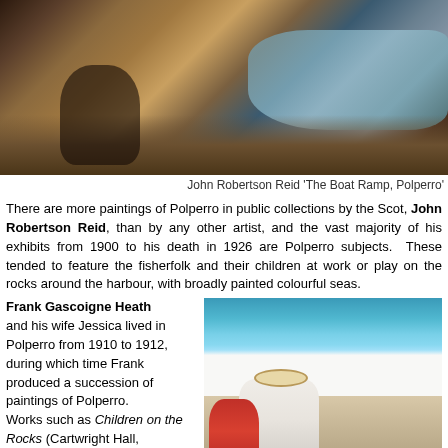[Figure (photo): Painting by John Robertson Reid titled 'The Boat Ramp, Polperro' showing fisherfolk and children on rocks near harbour with sea in background]
John Robertson Reid 'The Boat Ramp, Polperro'
There are more paintings of Polperro in public collections by the Scot, John Robertson Reid, than by any other artist, and the vast majority of his exhibits from 1900 to his death in 1926 are Polperro subjects. These tended to feature the fisherfolk and their children at work or play on the rocks around the harbour, with broadly painted colourful seas.
Frank Gascoigne Heath and his wife Jessica lived in Polperro from 1910 to 1912, during which time Frank produced a succession of paintings of Polperro. Works such as Children on the Rocks (Cartwright Hall, Bradford) reveal the clear influence of his earlier
[Figure (photo): Painting showing woman in white dress and wide-brimmed hat with child in red dress at the seaside, viewed from behind, waves in background]